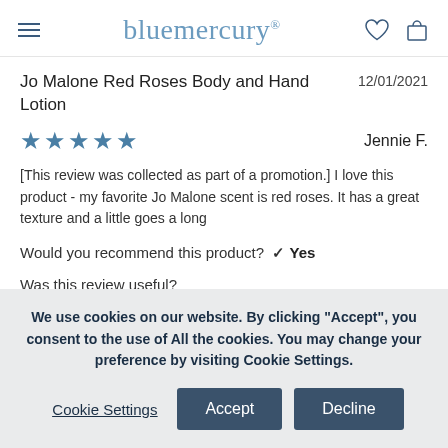bluemercury
Jo Malone Red Roses Body and Hand Lotion
12/01/2021
★★★★★  Jennie F.
[This review was collected as part of a promotion.] I love this product - my favorite Jo Malone scent is red roses. It has a great texture and a little goes a long
Would you recommend this product? ✓ Yes
Was this review useful?
YES  0  NO  0  REPORT
We use cookies on our website. By clicking "Accept", you consent to the use of All the cookies. You may change your preference by visiting Cookie Settings.
Cookie Settings  Accept  Decline